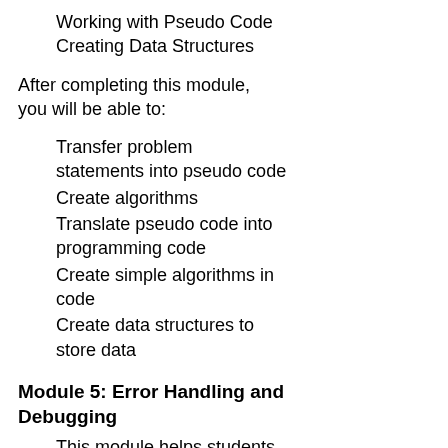Working with Pseudo Code
Creating Data Structures
After completing this module, you will be able to:
Transfer problem statements into pseudo code
Create algorithms
Translate pseudo code into programming code
Create simple algorithms in code
Create data structures to store data
Module 5: Error Handling and Debugging
This module helps students understand that errors are a part of programming and they must understand how to